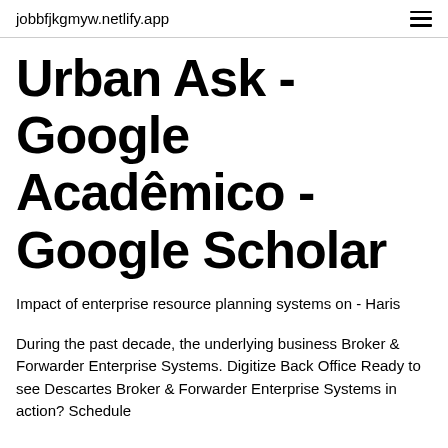jobbfjkgmyw.netlify.app
Urban Ask - Google Acadêmico - Google Scholar
Impact of enterprise resource planning systems on - Haris
During the past decade, the underlying business Broker & Forwarder Enterprise Systems. Digitize Back Office Ready to see Descartes Broker & Forwarder Enterprise Systems in action? Schedule